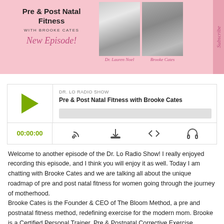[Figure (illustration): Podcast banner for Pre & Post Natal Fitness with Brooke Cates, featuring script text 'New Episode!', photos of Dr. Lauren Noel and Brooke Cates on a pink background, with a Subscribe tab on the right side.]
[Figure (screenshot): Audio player widget for DR. LO RADIO SHOW episode 'Pre & Post Natal Fitness with Brooke Cates', showing a green play button, progress bar, timestamp 00:00:00, and podcast control icons.]
Welcome to another episode of the Dr. Lo Radio Show! I really enjoyed recording this episode, and I think you will enjoy it as well. Today I am chatting with Brooke Cates and we are talking all about the unique roadmap of pre and post natal fitness for women going through the journey of motherhood.
Brooke Cates is the Founder & CEO of The Bloom Method, a pre and postnatal fitness method, redefining exercise for the modern mom. Brooke is a Certified Personal Trainer, Pre & Postnatal Corrective Exercise Specialist, Diastasis Recti & Core Rehabilitation